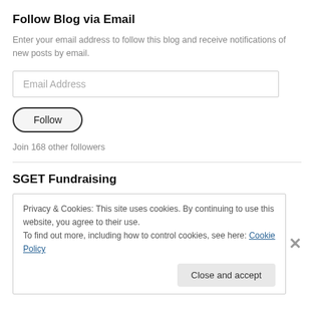Follow Blog via Email
Enter your email address to follow this blog and receive notifications of new posts by email.
Email Address
Follow
Join 168 other followers
SGET Fundraising
Privacy & Cookies: This site uses cookies. By continuing to use this website, you agree to their use. To find out more, including how to control cookies, see here: Cookie Policy
Close and accept